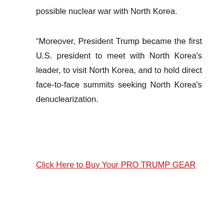possible nuclear war with North Korea.
“Moreover, President Trump became the first U.S. president to meet with North Korea's leader, to visit North Korea, and to hold direct face-to-face summits seeking North Korea's denuclearization.
Click Here to Buy Your PRO TRUMP GEAR